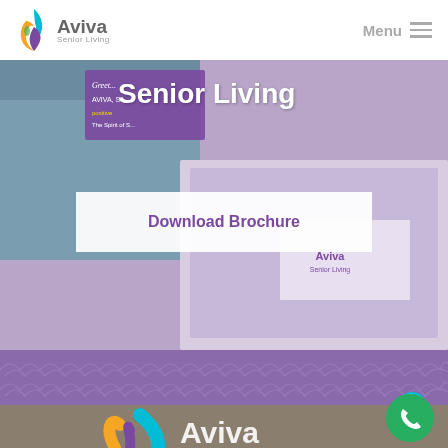[Figure (logo): Aviva Senior Living logo with colorful flame icon and text]
Menu
[Figure (screenshot): Hero banner with Senior Living heading, marketing brochure imagery, people celebrating, and Aviva brochure]
Senior Living
Download Brochure
[Figure (illustration): Purple scallop/fan decorative pattern band]
[Figure (logo): Aviva Senior Living large logo on taupe background, partially visible at bottom]